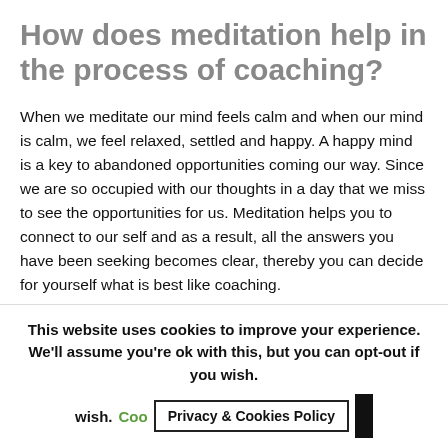How does meditation help in the process of coaching?
When we meditate our mind feels calm and when our mind is calm, we feel relaxed, settled and happy. A happy mind is a key to abandoned opportunities coming our way. Since we are so occupied with our thoughts in a day that we miss to see the opportunities for us. Meditation helps you to connect to our self and as a result, all the answers you have been seeking becomes clear, thereby you can decide for yourself what is best like coaching.
Meditation helps to manage stress, maintain strategic focus, enhance cognitive performance, promote
This website uses cookies to improve your experience. We'll assume you're ok with this, but you can opt-out if you wish. Cookie Privacy & Cookies Policy